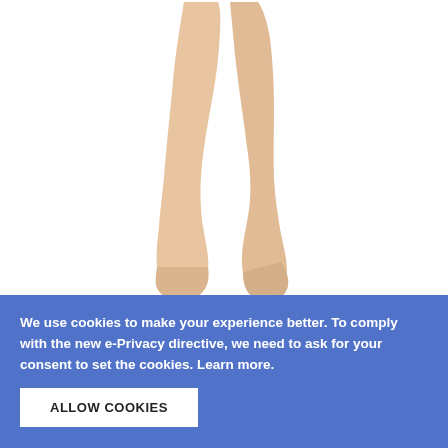[Figure (illustration): Legs of a person wearing sheer nude/beige pantyhose, shown from upper thigh down to feet, walking pose against white background]
Therafirm 20-30 MmHg Firm Support Pantyhose - 2030-W-PTH
We use cookies to make your experience better. To comply with the new e-Privacy directive, we need to ask for your consent to set the cookies. Learn more.
ALLOW COOKIES